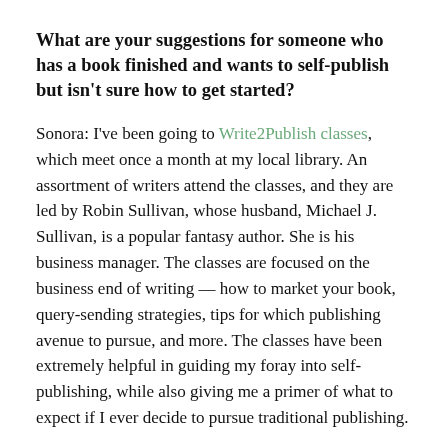What are your suggestions for someone who has a book finished and wants to self-publish but isn't sure how to get started?
Sonora: I've been going to Write2Publish classes, which meet once a month at my local library. An assortment of writers attend the classes, and they are led by Robin Sullivan, whose husband, Michael J. Sullivan, is a popular fantasy author. She is his business manager. The classes are focused on the business end of writing — how to market your book, query-sending strategies, tips for which publishing avenue to pursue, and more. The classes have been extremely helpful in guiding my foray into self-publishing, while also giving me a primer of what to expect if I ever decide to pursue traditional publishing.